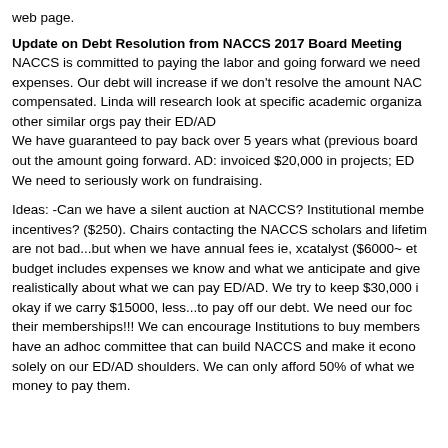web page.
Update on Debt Resolution from NACCS 2017 Board Meeting NACCS is committed to paying the labor and going forward we need expenses. Our debt will increase if we don't resolve the amount NAC compensated. Linda will research look at specific academic organiza other similar orgs pay their ED/AD We have guaranteed to pay back over 5 years what (previous board out the amount going forward. AD: invoiced $20,000 in projects; ED We need to seriously work on fundraising.
Ideas: -Can we have a silent auction at NACCS? Institutional membe incentives? ($250). Chairs contacting the NACCS scholars and lifetim are not bad...but when we have annual fees ie, xcatalyst ($6000~ et budget includes expenses we know and what we anticipate and give realistically about what we can pay ED/AD. We try to keep $30,000 i okay if we carry $15000, less...to pay off our debt. We need our foc their memberships!!! We can encourage Institutions to buy members have an adhoc committee that can build NACCS and make it econo solely on our ED/AD shoulders. We can only afford 50% of what we money to pay them.